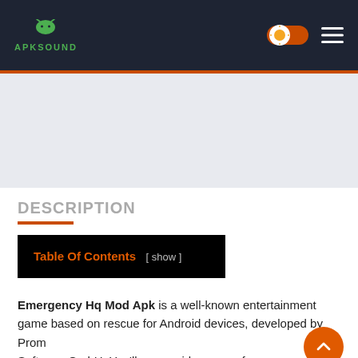APKSOUND
[Figure (screenshot): Gray banner/advertisement area]
DESCRIPTION
| Table Of Contents |
| --- |
| [ show ] |
Emergency Hq Mod Apk is a well-known entertainment game based on rescue for Android devices, developed by Prometheus Software GmbH. You'll see a wide range of rescue agencies